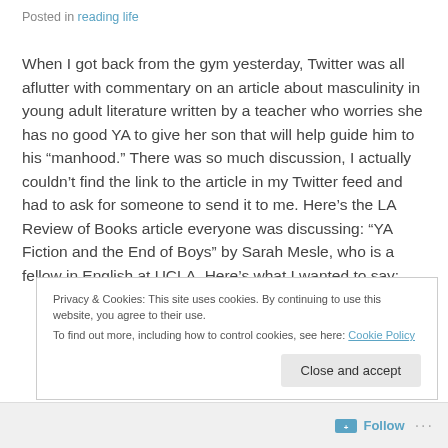Posted in reading life
When I got back from the gym yesterday, Twitter was all aflutter with commentary on an article about masculinity in young adult literature written by a teacher who worries she has no good YA to give her son that will help guide him to his “manhood.” There was so much discussion, I actually couldn’t find the link to the article in my Twitter feed and had to ask for someone to send it to me. Here’s the LA Review of Books article everyone was discussing: “YA Fiction and the End of Boys” by Sarah Mesle, who is a fellow in English at UCLA. Here’s what I wanted to say:
Privacy & Cookies: This site uses cookies. By continuing to use this website, you agree to their use.
To find out more, including how to control cookies, see here: Cookie Policy
Close and accept
Follow ...